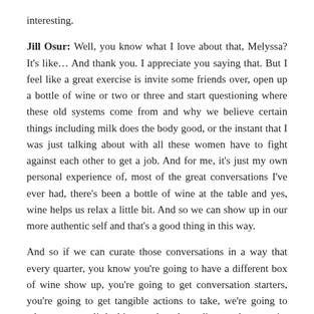interesting.
Jill Osur: Well, you know what I love about that, Melyssa? It's like… And thank you. I appreciate you saying that. But I feel like a great exercise is invite some friends over, open up a bottle of wine or two or three and start questioning where these old systems come from and why we believe certain things including milk does the body good, or the instant that I was just talking about with all these women have to fight against each other to get a job. And for me, it's just my own personal experience of, most of the great conversations I've ever had, there's been a bottle of wine at the table and yes, wine helps us relax a little bit. And so we can show up in our more authentic self and that's a good thing in this way.
And so if we can curate those conversations in a way that every quarter, you know you're going to have a different box of wine show up, you're going to get conversation starters, you're going to get tangible actions to take, we're going to educate you a little bit or a lot, depending on how you're showing up, then we can really do our part to really change not just the wine industry, but other industries. And I feel like, again, I know I was put on this earth to use my voice and I believe being of service is so powerful to show up in that way. And it took me a really long time to get here because I didn't know enough about myself. And that's another